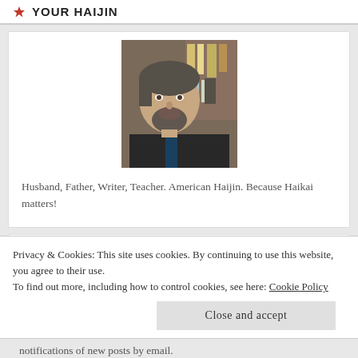YOUR HAIJIN
[Figure (photo): Portrait photo of a middle-aged man with a beard, dark hair, wearing a dark jacket, sitting in what appears to be an office or study]
Husband, Father, Writer, Teacher. American Haijin. Because Haikai matters!
Follow Frank J. Tassone
Privacy & Cookies: This site uses cookies. By continuing to use this website, you agree to their use.
To find out more, including how to control cookies, see here: Cookie Policy
Close and accept
notifications of new posts by email.